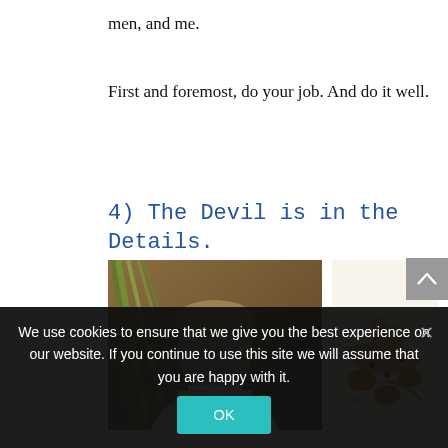men, and me.
First and foremost, do your job. And do it well.
4) The Devil is in the Details.
[Figure (photo): Portrait photo of a chef in white chef's coat, with green foliage in the background]
[Figure (photo): Close-up photo of an elegantly plated dish with scallops, pasta, and sauce on a white plate]
We use cookies to ensure that we give you the best experience on our website. If you continue to use this site we will assume that you are happy with it.